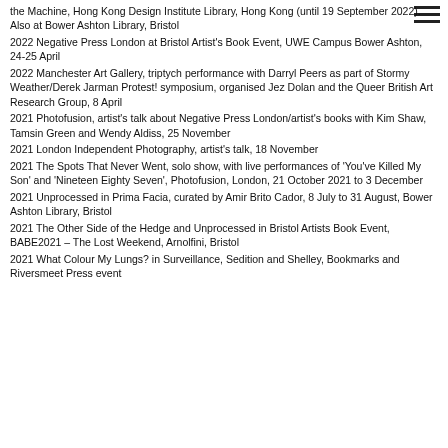the Machine, Hong Kong Design Institute Library, Hong Kong (until 19 September 2022). Also at Bower Ashton Library, Bristol
2022 Negative Press London at Bristol Artist's Book Event, UWE Campus Bower Ashton, 24-25 April
2022 Manchester Art Gallery, triptych performance with Darryl Peers as part of Stormy Weather/Derek Jarman Protest! symposium, organised Jez Dolan and the Queer British Art Research Group, 8 April
2021 Photofusion, artist's talk about Negative Press London/artist's books with Kim Shaw, Tamsin Green and Wendy Aldiss, 25 November
2021 London Independent Photography, artist's talk, 18 November
2021 The Spots That Never Went, solo show, with live performances of 'You've Killed My Son' and 'Nineteen Eighty Seven', Photofusion, London, 21 October 2021 to 3 December
2021 Unprocessed in Prima Facia, curated by Amir Brito Cador, 8 July to 31 August, Bower Ashton Library, Bristol
2021 The Other Side of the Hedge and Unprocessed in Bristol Artists Book Event, BABE2021 – The Lost Weekend, Arnolfini, Bristol
2021 What Colour My Lungs? in Surveillance, Sedition and Shelley, Bookmarks and Riversmeet Press event